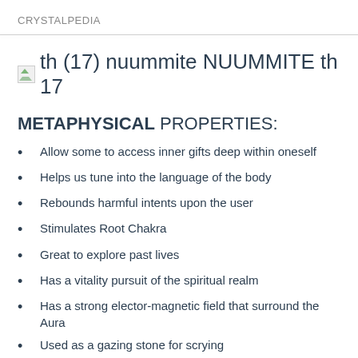CRYSTALPEDIA
th (17) nuummite NUUMMITE th 17
METAPHYSICAL PROPERTIES:
Allow some to access inner gifts deep within oneself
Helps us tune into the language of the body
Rebounds harmful intents upon the user
Stimulates Root Chakra
Great to explore past lives
Has a vitality pursuit of the spiritual realm
Has a strong elector-magnetic field that surround the Aura
Used as a gazing stone for scrying
Assist in the increase of opportunities for personal